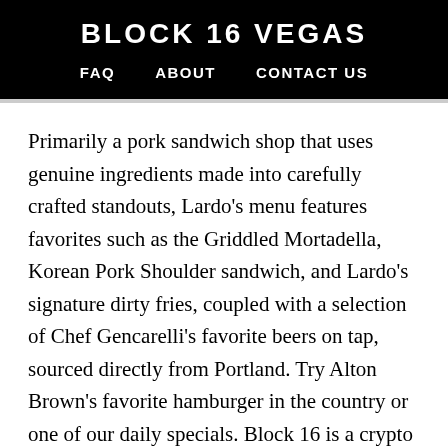BLOCK 16 VEGAS
FAQ   ABOUT   CONTACT US
Primarily a pork sandwich shop that uses genuine ingredients made into carefully crafted standouts, Lardo’s menu features favorites such as the Griddled Mortadella, Korean Pork Shoulder sandwich, and Lardo’s signature dirty fries, coupled with a selection of Chef Gencarelli’s favorite beers on tap, sourced directly from Portland. Try Alton Brown’s favorite hamburger in the country or one of our daily specials. Block 16 is a crypto venture studio that provides advisory services, marketing strategies, and technical blockchain